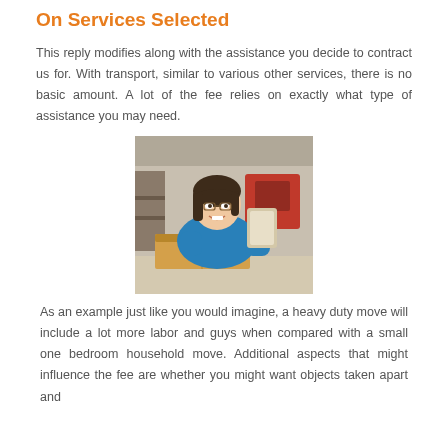On Services Selected
This reply modifies along with the assistance you decide to contract us for. With transport, similar to various other services, there is no basic amount. A lot of the fee relies on exactly what type of assistance you may need.
[Figure (photo): A smiling woman in a blue shirt holding a tablet and a cardboard box in a warehouse setting]
As an example just like you would imagine, a heavy duty move will include a lot more labor and guys when compared with a small one bedroom household move. Additional aspects that might influence the fee are whether you might want objects taken apart and